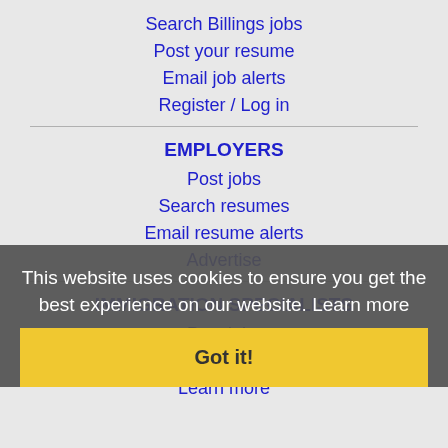Search Billings jobs
Post your resume
Email job alerts
Register / Log in
EMPLOYERS
Post jobs
Search resumes
Email resume alerts
Advertise
IMMIGRATION SPECIALISTS
Post jobs
Immigration FAQs
Learn more
This website uses cookies to ensure you get the best experience on our website. Learn more
Got it!